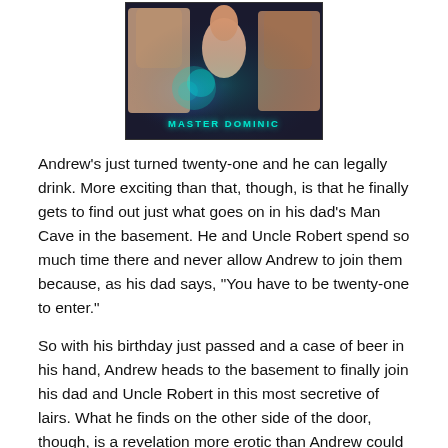[Figure (illustration): Book cover image for 'Master Dominic' showing figures against a dark blue/teal background with glowing light effects. Text 'MASTER DOMINIC' appears at the bottom in teal letters.]
Andrew's just turned twenty-one and he can legally drink. More exciting than that, though, is that he finally gets to find out just what goes on in his dad's Man Cave in the basement. He and Uncle Robert spend so much time there and never allow Andrew to join them because, as his dad says, “You have to be twenty-one to enter.”
So with his birthday just passed and a case of beer in his hand, Andrew heads to the basement to finally join his dad and Uncle Robert in this most secretive of lairs. What he finds on the other side of the door, though, is a revelation more erotic than Andrew could have ever dreamed up.